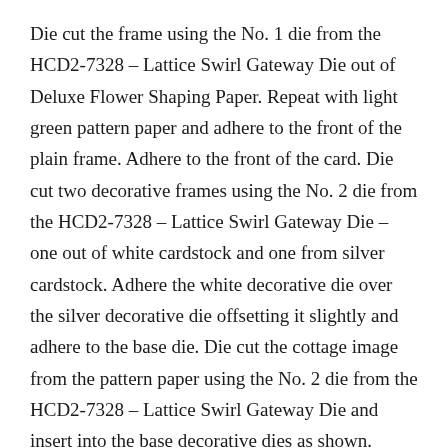Die cut the frame using the No. 1 die from the HCD2-7328 – Lattice Swirl Gateway Die out of Deluxe Flower Shaping Paper. Repeat with light green pattern paper and adhere to the front of the plain frame. Adhere to the front of the card. Die cut two decorative frames using the No. 2 die from the HCD2-7328 – Lattice Swirl Gateway Die – one out of white cardstock and one from silver cardstock. Adhere the white decorative die over the silver decorative die offsetting it slightly and adhere to the base die. Die cut the cottage image from the pattern paper using the No. 2 die from the HCD2-7328 – Lattice Swirl Gateway Die and insert into the base decorative dies as shown.
Stamp the oval image from the HCPC-3975 Oval Floral